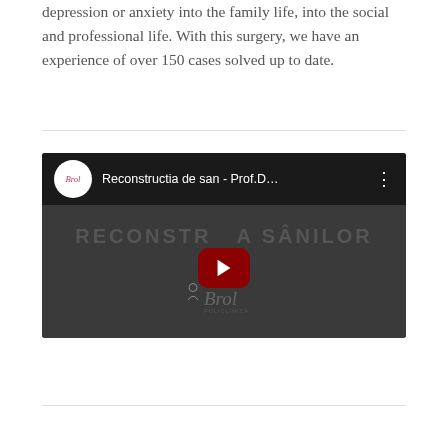depression or anxiety into the family life, into the social and professional life. With this surgery, we have an experience of over 150 cases solved up to date.
[Figure (screenshot): YouTube video thumbnail for 'Reconstructia de san - Prof.D...' showing a dark background with the text 'RECONSTRU A SÂNILOR' and a YouTube play button in the center, with the Brol clinic logo at the bottom.]